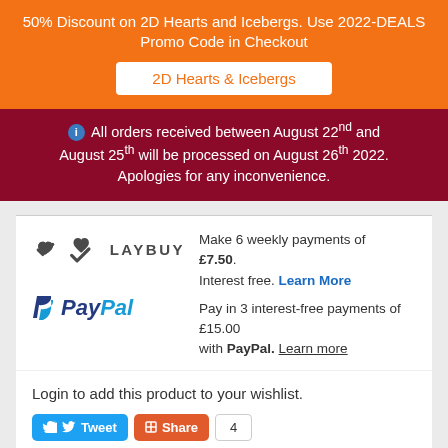50% Discount on 2D Hearts and Icebergs. Use 2022-DEALS Promo Code in Checkout
2D Hearts & Icebergs
ℹ All orders received between August 22nd and August 25th will be processed on August 26th 2022. Apologies for any inconvenience.
[Figure (logo): Laybuy logo with heart-check icon and LAYBUY text]
Make 6 weekly payments of £7.50. Interest free. Learn More
[Figure (logo): PayPal logo]
Pay in 3 interest-free payments of £15.00 with PayPal. Learn more
Login to add this product to your wishlist.
Tweet  Share  4